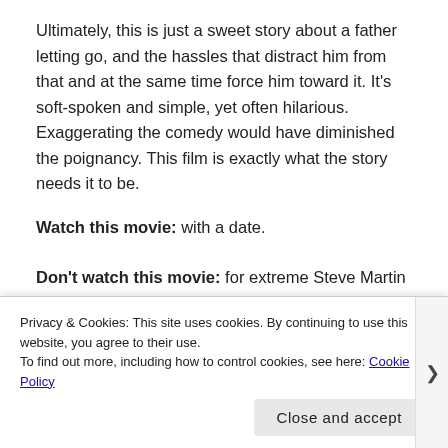Ultimately, this is just a sweet story about a father letting go, and the hassles that distract him from that and at the same time force him toward it. It's soft-spoken and simple, yet often hilarious. Exaggerating the comedy would have diminished the poignancy. This film is exactly what the story needs it to be.
Watch this movie: with a date.
Don't watch this movie: for extreme Steve Martin hijinks
[Figure (other): Advertisement banner with red background showing partial text 'An app by' and a circular dark logo element. Labeled 'Advertisements' above.]
Privacy & Cookies: This site uses cookies. By continuing to use this website, you agree to their use.
To find out more, including how to control cookies, see here: Cookie Policy
Close and accept